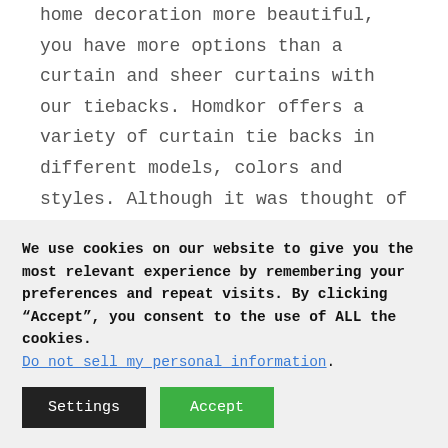home decoration more beautiful, you have more options than a curtain and sheer curtains with our tiebacks. Homdkor offers a variety of curtain tie backs in different models, colors and styles. Although it was thought of as a traditional and old fashioned curtain tool, curtain tie backs are now seen as a modern way of decorating curtains and can contribute to a traditional appearance as well as a modern one. Perfect to use in a variety of places such as living
We use cookies on our website to give you the most relevant experience by remembering your preferences and repeat visits. By clicking “Accept”, you consent to the use of ALL the cookies. Do not sell my personal information.